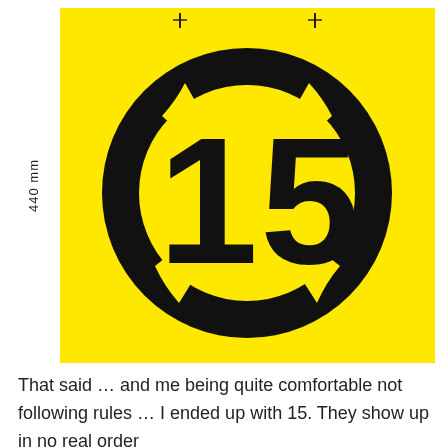[Figure (illustration): Yellow square stencil sign with a black circle ring and the number 15 in large black bold numerals in the center. A dimension line on the left side indicates 440 mm height. Two small registration marks appear at the top of the sign.]
That said … and me being quite comfortable not following rules … I ended up with 15. They show up in no real order